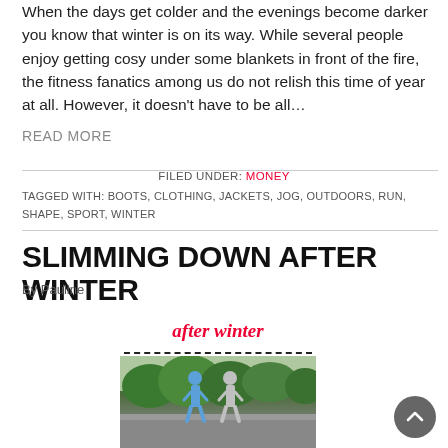When the days get colder and the evenings become darker you know that winter is on its way. While several people enjoy getting cosy under some blankets in front of the fire, the fitness fanatics among us do not relish this time of year at all. However, it doesn't have to be all…
READ MORE
FILED UNDER: MONEY
TAGGED WITH: BOOTS, CLOTHING, JACKETS, JOG, OUTDOORS, RUN, SHAPE, SPORT, WINTER
SLIMMING DOWN AFTER WINTER
By Pauline
[Figure (photo): Blog post header image showing text 'after winter' in red script with a dashed underline and a photo of two runners from behind in a green outdoor setting]